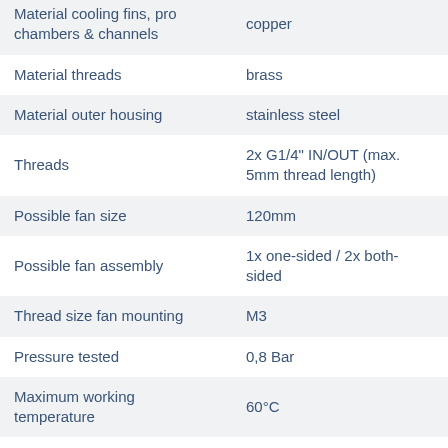| Property | Value |
| --- | --- |
| Material cooling fins, pro chambers & channels | copper |
| Material threads | brass |
| Material outer housing | stainless steel |
| Threads | 2x G1/4" IN/OUT (max. 5mm thread length) |
| Possible fan size | 120mm |
| Possible fan assembly | 1x one-sided / 2x both-sided |
| Thread size fan mounting | M3 |
| Pressure tested | 0,8 Bar |
| Maximum working temperature | 60°C |
| Fin density | 19 FPI |
| Weight | 290g |
| Color | black |